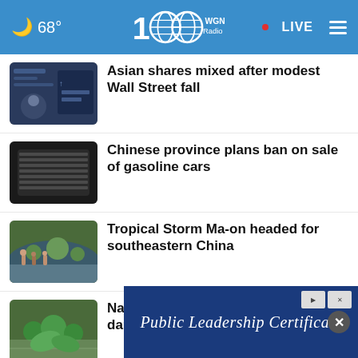🌙 68° | WGN Radio 100 | • LIVE
Asian shares mixed after modest Wall Street fall
Chinese province plans ban on sale of gasoline cars
Tropical Storm Ma-on headed for southeastern China
Native groups seek to repair lands damaged by colonization
One month later, Kentucky flood evacuees weigh cloudy …
abuses, deaths at …
[Figure (screenshot): Advertisement banner: Public Leadership Certificate on dark blue background]